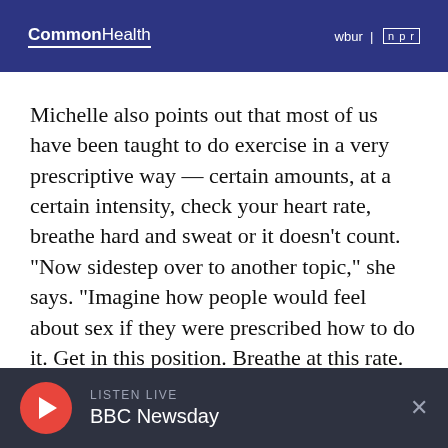CommonHealth | wbur | npr
Michelle also points out that most of us have been taught to do exercise in a very prescriptive way — certain amounts, at a certain intensity, check your heart rate, breathe hard and sweat or it doesn't count.
"Now sidestep over to another topic," she says. "Imagine how people would feel about sex if they were prescribed how to do it. Get in this position. Breathe at this rate. It would turn even
LISTEN LIVE BBC Newsday